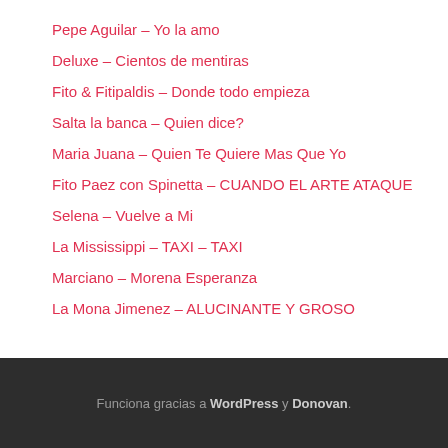Pepe Aguilar – Yo la amo
Deluxe – Cientos de mentiras
Fito & Fitipaldis – Donde todo empieza
Salta la banca – Quien dice?
Maria Juana – Quien Te Quiere Mas Que Yo
Fito Paez con Spinetta – CUANDO EL ARTE ATAQUE
Selena – Vuelve a Mi
La Mississippi – TAXI – TAXI
Marciano – Morena Esperanza
La Mona Jimenez – ALUCINANTE Y GROSO
Funciona gracias a WordPress y Donovan.